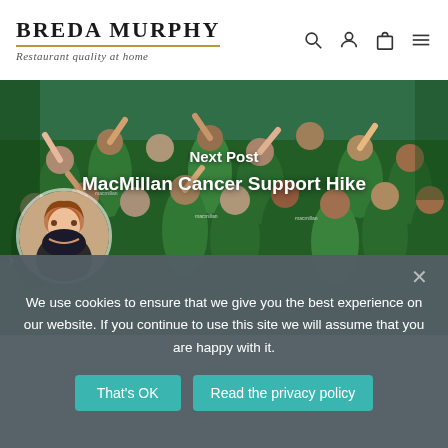BREDA MURPHY — Restaurant quality at home
[Figure (photo): Large group of people wearing green MacMillan Cancer Support t-shirts and vests, waving and smiling at a charity hike event outdoors]
Next Post
MacMillan Cancer Support Hike
We use cookies to ensure that we give you the best experience on our website. If you continue to use this site we will assume that you are happy with it.
That's OK
Read the privacy policy